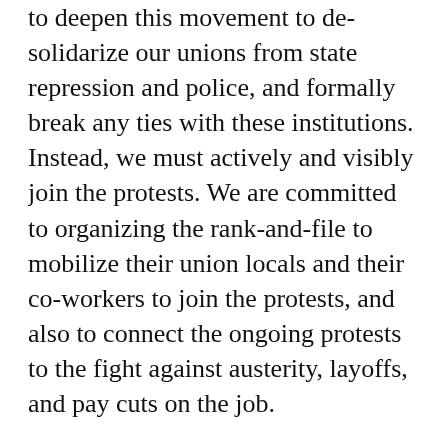to deepen this movement to de-solidarize our unions from state repression and police, and formally break any ties with these institutions. Instead, we must actively and visibly join the protests. We are committed to organizing the rank-and-file to mobilize their union locals and their co-workers to join the protests, and also to connect the ongoing protests to the fight against austerity, layoffs, and pay cuts on the job.
As socialists, we need to actively participate in this mass rebellion by agitating among all sectors of our class—including unions, but also community organizations, youth groups